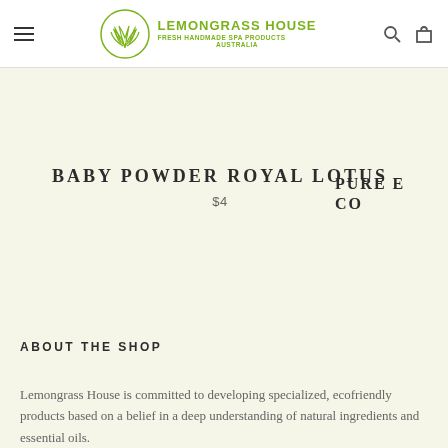Lemongrass House - Fresh Handmade Spa Products Australia
BABY POWDER ROYAL LOTUS
$4
PURE E... CO...
ABOUT THE SHOP
Lemongrass House is committed to developing specialized, ecofriendly products based on a belief in a deep understanding of natural ingredients and essential oils.